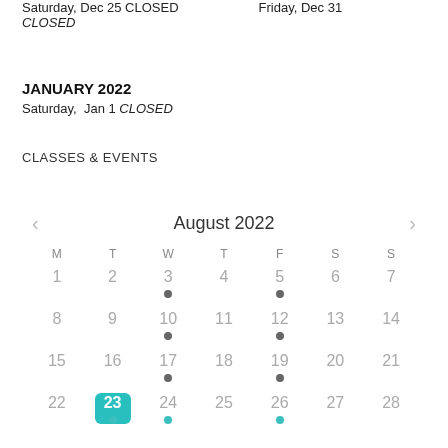Saturday, Dec 25 CLOSED   Friday, Dec 31
CLOSED
JANUARY 2022
Saturday,  Jan 1 CLOSED
CLASSES & EVENTS
[Figure (other): Interactive monthly calendar showing August 2022 with navigation arrows, day-of-week headers (M T W T F S S), and dates 1–28 visible. Dots (event indicators) appear below dates 3, 5, 10, 12, 17, 19, 24, 26. Date 23 is highlighted with a teal background.]